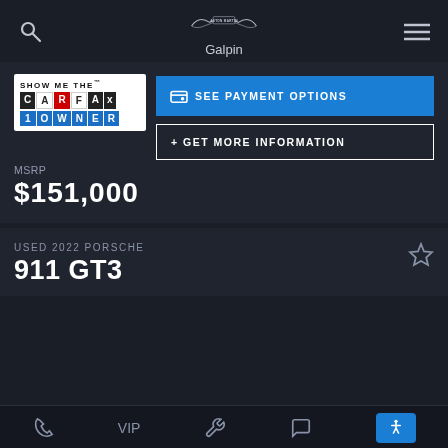[Figure (logo): Aston Martin winged logo with 'ASTON MARTIN' text in center, above 'Galpin' dealership name]
[Figure (logo): Carfax 1 Owner badge - white background with CARFAX logo and '1 OWNER' in blue tiles]
SEE PAYMENT OPTIONS
MSRP
$151,000
+ GET MORE INFORMATION
USED 2022 PORSCHE
911 GT3
Phone | VIP | Wrench | Chat | Accessibility